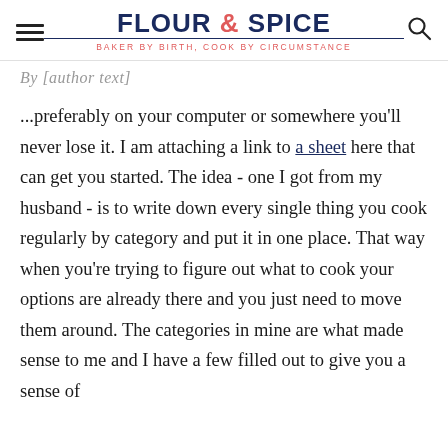FLOUR & SPICE — BAKER BY BIRTH, COOK BY CIRCUMSTANCE
By [author text]
...preferably on your computer or somewhere you'll never lose it. I am attaching a link to a sheet here that can get you started. The idea - one I got from my husband - is to write down every single thing you cook regularly by category and put it in one place. That way when you're trying to figure out what to cook your options are already there and you just need to move them around. The categories in mine are what made sense to me and I have a few filled out to give you a sense of